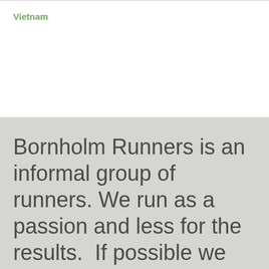Vietnam
Bornholm Runners is an informal group of runners. We run as a passion and less for the results.  If possible we try to support serious ill children by generate sponsors who pay directly to organizations and